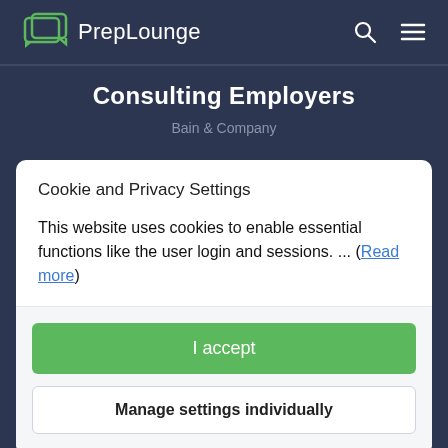PrepLounge
Consulting Employers
Bain & Company
Cookie and Privacy Settings
This website uses cookies to enable essential functions like the user login and sessions. ... (Read more)
I accept
Manage settings individually